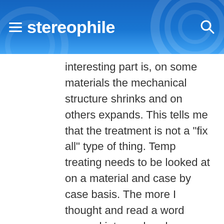stereophile
interesting part is, on some materials the mechanical structure shrinks and on others expands. This tells me that the treatment is not a "fix all" type of thing. Temp treating needs to be looked at on a material and case by case basis. The more I thought and read a word popped into my head, thresholds. By working with materials I have become aware of the goldilocks syndrome. Materials respond according to their vibratory